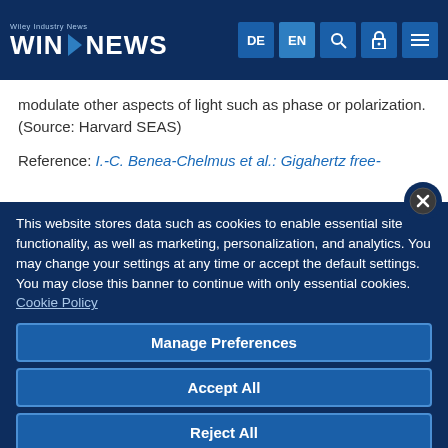WIN NEWS — Wiley Industry News header with navigation buttons DE, EN, search, lock, menu
modulate other aspects of light such as phase or polarization. (Source: Harvard SEAS)
Reference: I.-C. Benea-Chelmus et al.: Gigahertz free-
This website stores data such as cookies to enable essential site functionality, as well as marketing, personalization, and analytics. You may change your settings at any time or accept the default settings. You may close this banner to continue with only essential cookies. Cookie Policy
Manage Preferences
Accept All
Reject All